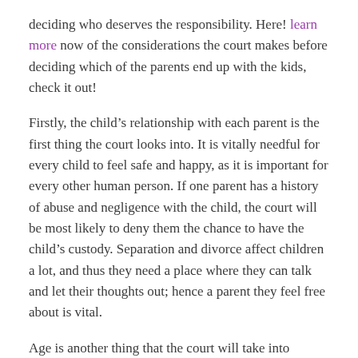deciding who deserves the responsibility. Here! learn more now of the considerations the court makes before deciding which of the parents end up with the kids, check it out!
Firstly, the child's relationship with each parent is the first thing the court looks into. It is vitally needful for every child to feel safe and happy, as it is important for every other human person. If one parent has a history of abuse and negligence with the child, the court will be most likely to deny them the chance to have the child's custody. Separation and divorce affect children a lot, and thus they need a place where they can talk and let their thoughts out; hence a parent they feel free about is vital.
Age is another thing that the court will take into account. Different children's ages determine who takes their custody; the younger they are, the more possible it is for them to go with the mother.